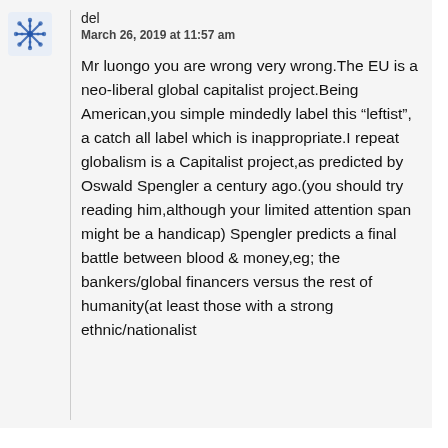del
March 26, 2019 at 11:57 am
Mr luongo you are wrong very wrong.The EU is a neo-liberal global capitalist project.Being American,you simple mindedly label this “leftist”, a catch all label which is inappropriate.I repeat globalism is a Capitalist project,as predicted by Oswald Spengler a century ago.(you should try reading him,although your limited attention span might be a handicap) Spengler predicts a final battle between blood & money,eg; the bankers/global financers versus the rest of humanity(at least those with a strong ethnic/nationalist